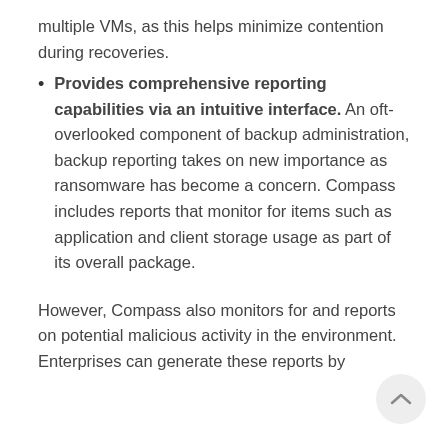multiple VMs, as this helps minimize contention during recoveries.
Provides comprehensive reporting capabilities via an intuitive interface. An oft-overlooked component of backup administration, backup reporting takes on new importance as ransomware has become a concern. Compass includes reports that monitor for items such as application and client storage usage as part of its overall package.
However, Compass also monitors for and reports on potential malicious activity in the environment. Enterprises can generate these reports by